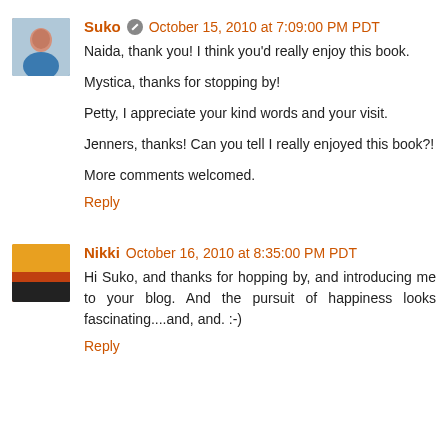Suko October 15, 2010 at 7:09:00 PM PDT
Naida, thank you! I think you'd really enjoy this book.

Mystica, thanks for stopping by!

Petty, I appreciate your kind words and your visit.

Jenners, thanks! Can you tell I really enjoyed this book?!

More comments welcomed.
Reply
Nikki October 16, 2010 at 8:35:00 PM PDT
Hi Suko, and thanks for hopping by, and introducing me to your blog. And the pursuit of happiness looks fascinating....and, and. :-)
Reply